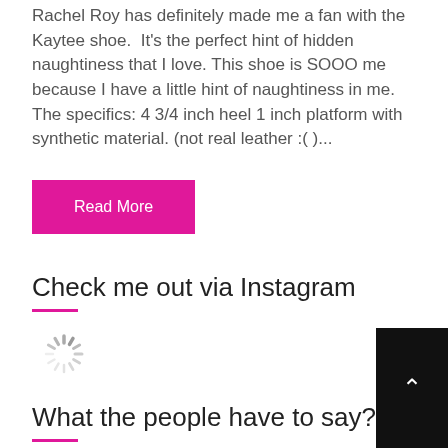Rachel Roy has definitely made me a fan with the Kaytee shoe. It's the perfect hint of hidden naughtiness that I love. This shoe is SOOO me because I have a little hint of naughtiness in me. The specifics: 4 3/4 inch heel 1 inch platform with synthetic material. (not real leather :( )...
Read More
Check me out via Instagram
[Figure (other): Loading spinner icon]
What the people have to say?